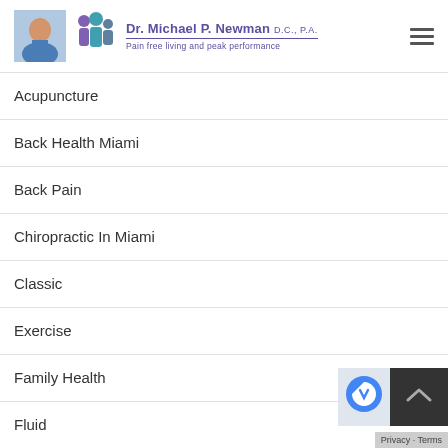Dr. Michael P. Newman D.C., P.A. — Pain free living and peak performance
Acupuncture
Back Health Miami
Back Pain
Chiropractic In Miami
Classic
Exercise
Family Health
Fluid
Health